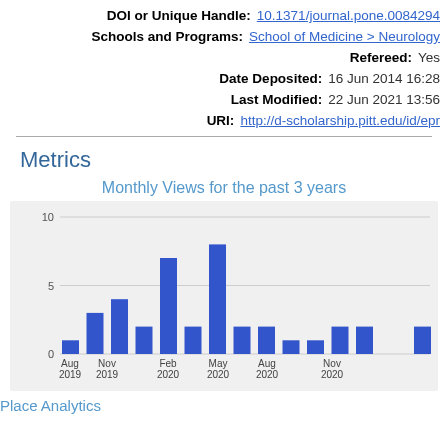| Field | Value |
| --- | --- |
| DOI or Unique Handle: | 10.1371/journal.pone.0084294 |
| Schools and Programs: | School of Medicine > Neurology |
| Refereed: | Yes |
| Date Deposited: | 16 Jun 2014 16:28 |
| Last Modified: | 22 Jun 2021 13:56 |
| URI: | http://d-scholarship.pitt.edu/id/epr |
Metrics
Monthly Views for the past 3 years
[Figure (bar-chart): Monthly Views for the past 3 years]
Place Analytics